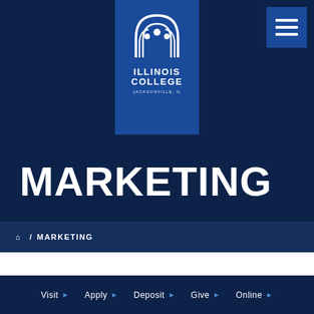[Figure (logo): Illinois College Jacksonville IL logo - white arch icon with three figures, text ILLINOIS COLLEGE JACKSONVILLE, IL on dark blue rectangle background]
MARKETING
⌂ / MARKETING
Visit  Apply  Deposit  Give  Online